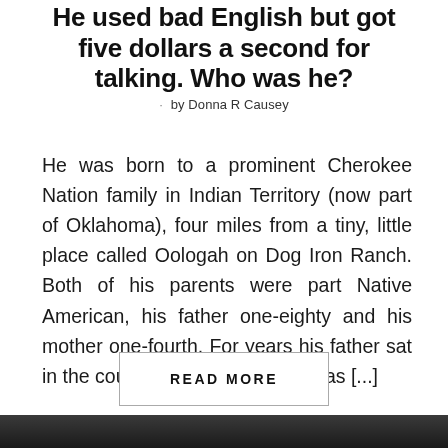He used bad English but got five dollars a second for talking. Who was he?
by Donna R Causey
He was born to a prominent Cherokee Nation family in Indian Territory (now part of Oklahoma), four miles from a tiny, little place called Oologah on Dog Iron Ranch. Both of his parents were part Native American, his father one-eighty and his mother one-fourth. For years his father sat in the councils of the Cherokees as [...]
READ MORE
[Figure (photo): Black and white photograph cropped at bottom of page]